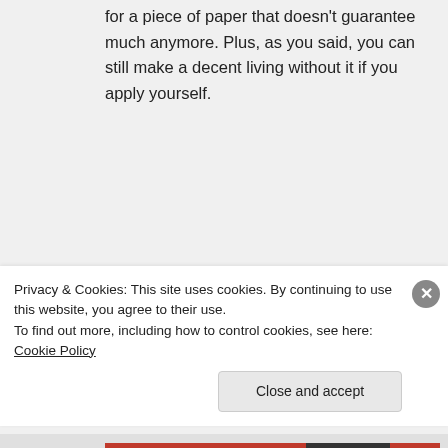for a piece of paper that doesn't guarantee much anymore. Plus, as you said, you can still make a decent living without it if you apply yourself.
↳ Reply
Lisa T on December 14, 2015 at 9:25 am
I am so agreeing to all of this being
Privacy & Cookies: This site uses cookies. By continuing to use this website, you agree to their use.
To find out more, including how to control cookies, see here: Cookie Policy
Close and accept